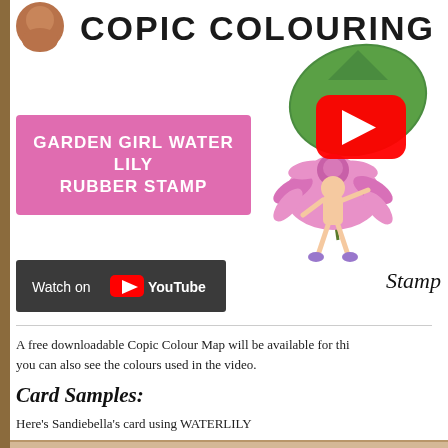COPIC COLOURING
[Figure (illustration): Garden Girl Water Lily fairy character illustration with pink flower petals as skirt and large green lily pad behind, with YouTube play button overlay]
GARDEN GIRL WATER LILY RUBBER STAMP
[Figure (screenshot): Watch on YouTube dark bar button with YouTube logo]
A free downloadable Copic Colour Map will be available for this you can also see the colours used in the video.
Card Samples:
Here’s Sandiebella’s card using WATERLILY